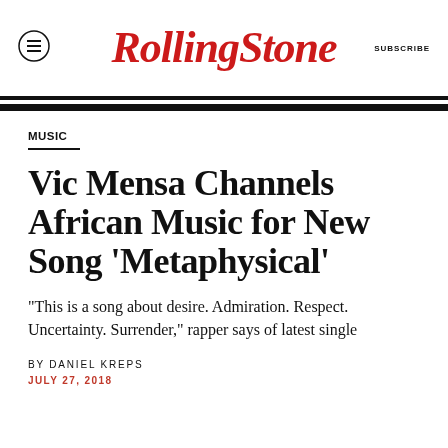Rolling Stone — SUBSCRIBE
MUSIC
Vic Mensa Channels African Music for New Song 'Metaphysical'
"This is a song about desire. Admiration. Respect. Uncertainty. Surrender," rapper says of latest single
BY DANIEL KREPS
JULY 27, 2018